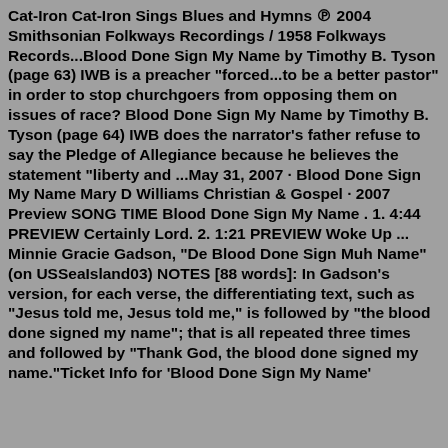Cat-Iron Cat-Iron Sings Blues and Hymns ℗ 2004 Smithsonian Folkways Recordings / 1958 Folkways Records...Blood Done Sign My Name by Timothy B. Tyson (page 63) IWB is a preacher "forced...to be a better pastor" in order to stop churchgoers from opposing them on issues of race? Blood Done Sign My Name by Timothy B. Tyson (page 64) IWB does the narrator's father refuse to say the Pledge of Allegiance because he believes the statement "liberty and ...May 31, 2007 · Blood Done Sign My Name Mary D Williams Christian & Gospel · 2007 Preview SONG TIME Blood Done Sign My Name . 1. 4:44 PREVIEW Certainly Lord. 2. 1:21 PREVIEW Woke Up ... Minnie Gracie Gadson, "De Blood Done Sign Muh Name" (on USSeaIsland03) NOTES [88 words]: In Gadson's version, for each verse, the differentiating text, such as "Jesus told me, Jesus told me," is followed by "the blood done signed my name"; that is all repeated three times and followed by "Thank God, the blood done signed my name."Ticket Info for 'Blood Done Sign My Name'